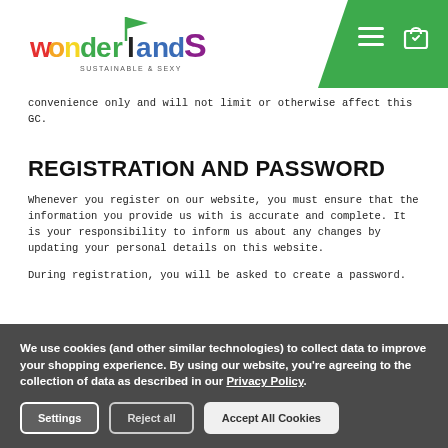[Figure (logo): Wonderlands Sustainable & Sexy logo with colorful text and flag icon, green header bar with hamburger menu and shopping bag icons]
convenience only and will not limit or otherwise affect this GC.
REGISTRATION AND PASSWORD
Whenever you register on our website, you must ensure that the information you provide us with is accurate and complete. It is your responsibility to inform us about any changes by updating your personal details on this website.
During registration, you will be asked to create a password
We use cookies (and other similar technologies) to collect data to improve your shopping experience. By using our website, you're agreeing to the collection of data as described in our Privacy Policy.
Settings   Reject all   Accept All Cookies